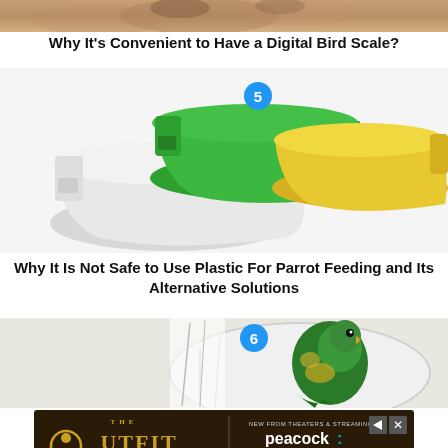[Figure (photo): Top portion of a cat or animal photo, cropped at top of page]
Why It’s Convenient to Have a Digital Bird Scale?
[Figure (photo): Three bird feeding bowls/cups in white, green, and yellow colors with a number 5 badge]
Why It Is Not Safe to Use Plastic For Parrot Feeding and Its Alternative Solutions
[Figure (photo): A green parrot/bird in a round container, with a number 6 badge]
[Figure (other): Advertisement banner for THE OUTFIT movie on Peacock, with STREAM NOW button]